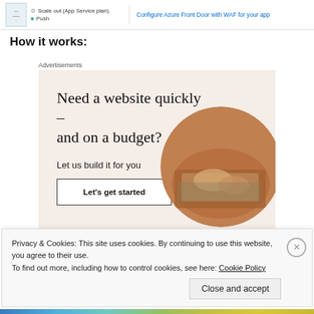[Figure (screenshot): Top navigation bar with Scale out (App Service plan) and Push menu items, and a link 'Configure Azure Front Door with WAF for your app']
How it works:
Advertisements
[Figure (illustration): Advertisement banner with beige background. Headline: 'Need a website quickly – and on a budget?' Subtext: 'Let us build it for you'. Button: 'Let's get started'. Circular photo of hands typing on laptop.]
Privacy & Cookies: This site uses cookies. By continuing to use this website, you agree to their use.
To find out more, including how to control cookies, see here: Cookie Policy
Close and accept